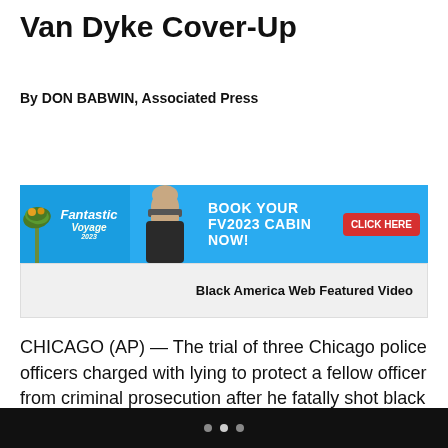Van Dyke Cover-Up
By DON BABWIN, Associated Press
[Figure (other): Advertisement banner: blue background with palm tree graphic, person in sunglasses, text reading BOOK YOUR FV2023 CABIN NOW! CLICK HERE]
Black America Web Featured Video
CHICAGO (AP) — The trial of three Chicago police officers charged with lying to protect a fellow officer from criminal prosecution after he fatally shot black teenager Laquan McDonald began with prosecutors pointing to reports they